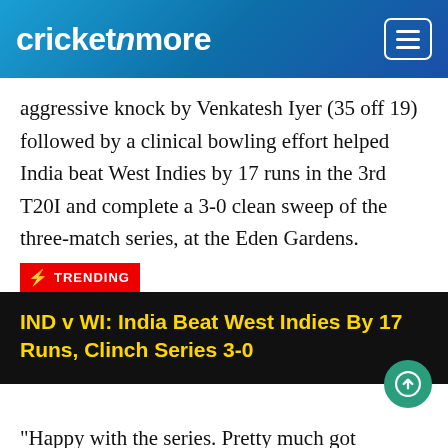cricketnmore
aggressive knock by Venkatesh Iyer (35 off 19) followed by a clinical bowling effort helped India beat West Indies by 17 runs in the 3rd T20I and complete a 3-0 clean sweep of the three-match series, at the Eden Gardens.
⚡ TRENDING
IND v WI: India Beat West Indies By 17 Runs, Clinch Series 3-0
"Happy with the series. Pretty much got everything that we wanted. We do understand we are very young as a team. We are still a good chasing side, but a lot of the players are missing. So we wanted the guys to understand